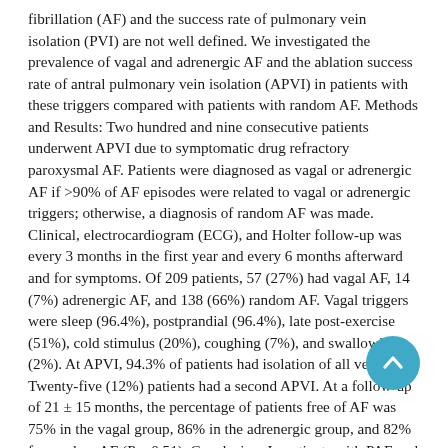fibrillation (AF) and the success rate of pulmonary vein isolation (PVI) are not well defined. We investigated the prevalence of vagal and adrenergic AF and the ablation success rate of antral pulmonary vein isolation (APVI) in patients with these triggers compared with patients with random AF. Methods and Results: Two hundred and nine consecutive patients underwent APVI due to symptomatic drug refractory paroxysmal AF. Patients were diagnosed as vagal or adrenergic AF if >90% of AF episodes were related to vagal or adrenergic triggers; otherwise, a diagnosis of random AF was made. Clinical, electrocardiogram (ECG), and Holter follow-up was every 3 months in the first year and every 6 months afterward and for symptoms. Of 209 patients, 57 (27%) had vagal AF, 14 (7%) adrenergic AF, and 138 (66%) random AF. Vagal triggers were sleep (96.4%), postprandial (96.4%), late post-exercise (51%), cold stimulus (20%), coughing (7%), and swallowing (2%). At APVI, 94.3% of patients had isolation of all veins. Twenty-five (12%) patients had a second APVI. At a follow-up of 21 ± 15 months, the percentage of patients free of AF was 75% in the vagal group, 86% in the adrenergic group, and 82% for random AF (P = 0.51). Conclusion: In patients with PAF and no structural heart disease referred for APVI, vagal AF is present in approximately one quarter. APVI is equally effective in patients with vagal AF as